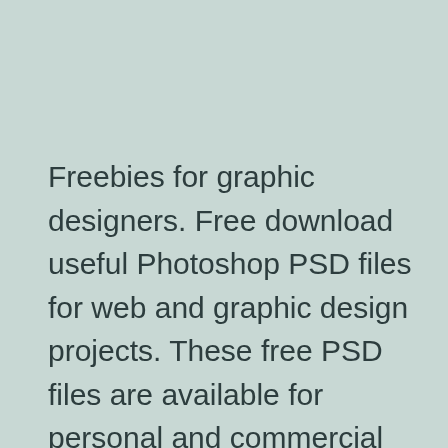Freebies for graphic designers. Free download useful Photoshop PSD files for web and graphic design projects. These free PSD files are available for personal and commercial use. All Photoshop resources are fully layered. editable, customizable and easy to use with the Smart Object. Free PSD graphics included PSD logos, App UI, Flyers, Business Card Templates, Branding, Vector Icons, Web PSD